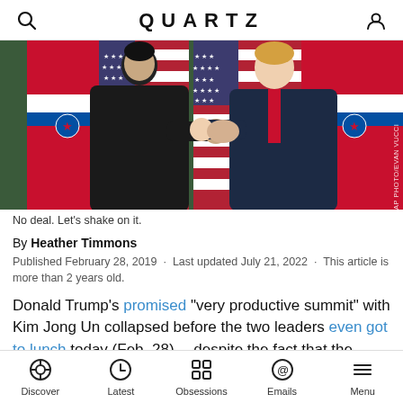QUARTZ
[Figure (photo): Kim Jong Un and Donald Trump shaking hands in front of North Korean and American flags. AP PHOTO/EVAN VUCCI]
No deal. Let's shake on it.
By Heather Timmons
Published February 28, 2019 · Last updated July 21, 2022 · This article is more than 2 years old.
Donald Trump's promised "very productive summit" with Kim Jong Un collapsed before the two leaders even got to lunch today (Feb. 28) —despite the fact that the White House had gone as far as planning a signing
Discover | Latest | Obsessions | Emails | Menu